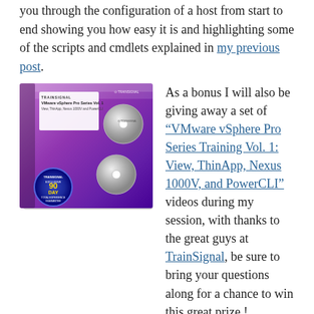you through the configuration of a host from start to end showing you how easy it is and highlighting some of the scripts and cmdlets explained in my previous post.
[Figure (photo): Product box image for TrainSignal VMware vSphere Pro Series Vol. 1: View, ThinApp, Nexus 1000V, and PowerCLI, with purple packaging, two discs, and a 90 Day Total Experience Guarantee badge.]
As a bonus I will also be giving away a set of "VMware vSphere Pro Series Training Vol. 1: View, ThinApp, Nexus 1000V, and PowerCLI" videos during my session, with thanks to the great guys at TrainSignal, be sure to bring your questions along for a chance to win this great prize !
There will obviously be all the other great sessions which normally take place and there is even a rumour that an all